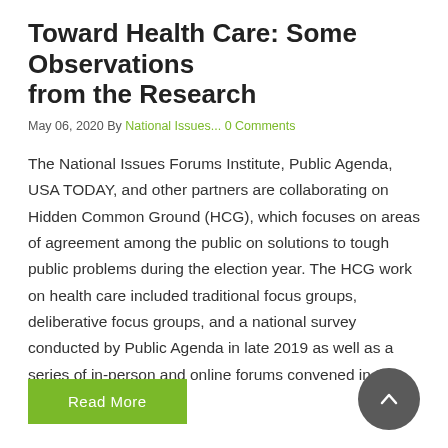Toward Health Care: Some Observations from the Research
May 06, 2020 By National Issues... 0 Comments
The National Issues Forums Institute, Public Agenda, USA TODAY, and other partners are collaborating on Hidden Common Ground (HCG), which focuses on areas of agreement among the public on solutions to tough public problems during the election year. The HCG work on health care included traditional focus groups, deliberative focus groups, and a national survey conducted by Public Agenda in late 2019 as well as a series of in-person and online forums convened in the NIF network.
Read More